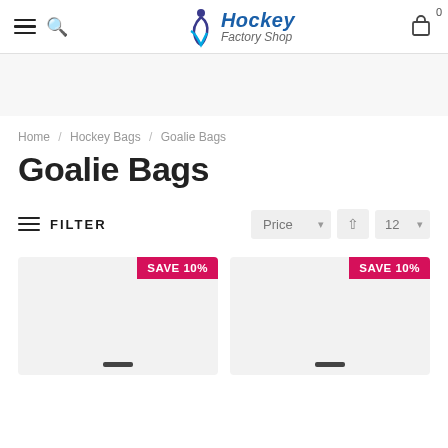Hockey Factory Shop — navigation header with hamburger menu, search icon, logo, and cart (0 items)
[Figure (illustration): Gray banner/hero area below the header]
Home / Hockey Bags / Goalie Bags
Goalie Bags
FILTER | Price ▾ ↑ 12 ▾
[Figure (screenshot): Two product card placeholders with SAVE 10% badges in pink/red]
SAVE 10%